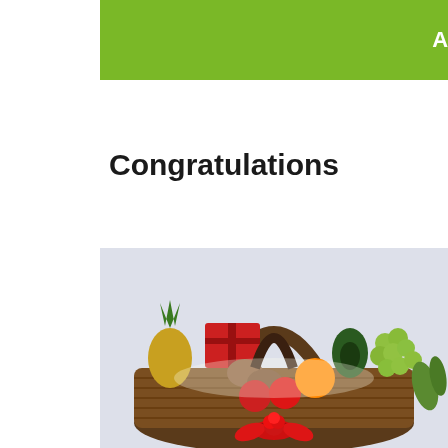Add to Cart
Congratulations
[Figure (photo): A fruit gift basket containing pineapple, kiwi, apples, pomegranate, orange, avocado, green grapes, zucchini, a red rose, red gift boxes, and other fruits, arranged in a woven basket with a red ribbon bow.]